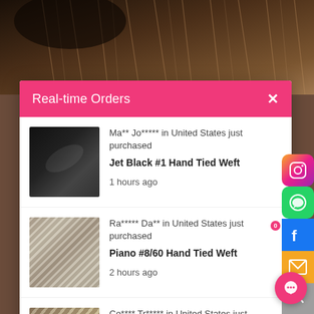[Figure (photo): Background photo showing hair extensions texture with dark brown tones at top of page]
Real-time Orders
[Figure (photo): Thumbnail of Jet Black #1 hair extension - very dark black hair]
Ma** Jo***** in United States just purchased
Jet Black #1 Hand Tied Weft
1 hours ago
[Figure (photo): Thumbnail of Piano #8/60 hair extension - silver and brown streaked hair]
Ra***** Da** in United States just purchased
Piano #8/60 Hand Tied Weft
2 hours ago
[Figure (photo): Thumbnail of Rooted Balayage #T8-8/22 hair extension - medium brown to blonde balayage]
Ce**** Tr***** in United States just purchased
Rooted Balayage #T8-8/22 Stick tip Hair
2 hours ago